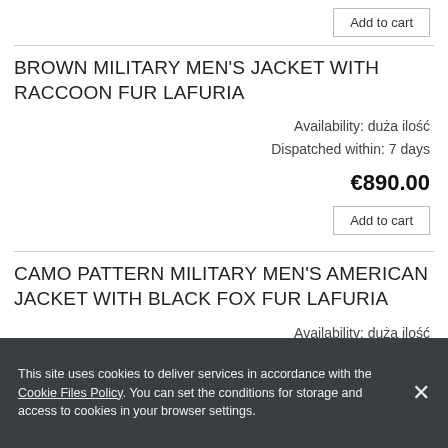Add to cart
BROWN MILITARY MEN'S JACKET WITH RACCOON FUR LAFURIA
Availability: duża ilość
Dispatched within: 7 days
€890.00
Add to cart
CAMO PATTERN MILITARY MEN'S AMERICAN JACKET WITH BLACK FOX FUR LAFURIA
Availability: duża ilość
Dispatched within: 7 days
This site uses cookies to deliver services in accordance with the Cookie Files Policy. You can set the conditions for storage and access to cookies in your browser settings.